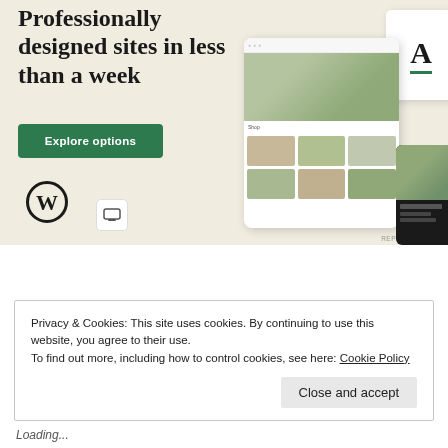[Figure (screenshot): WordPress advertisement banner with beige background. Large bold serif text reads 'Professionally designed sites in less than a week'. A green 'Explore options' button is shown below. WordPress logo (W in circle) is bottom left. Mockup website screenshots showing a food delivery site and a font selection screen are on the right side. Small 'REPORT THIS AD' text at bottom right.]
Privacy & Cookies: This site uses cookies. By continuing to use this website, you agree to their use.
To find out more, including how to control cookies, see here: Cookie Policy
Close and accept
Loading...